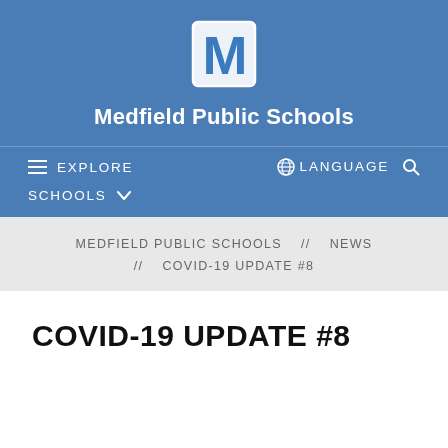[Figure (logo): Medfield Public Schools blue M logo]
Medfield Public Schools
≡ EXPLORE   🌐 LANGUAGE 🔍   SCHOOLS ∨
MEDFIELD PUBLIC SCHOOLS  //  NEWS  //  COVID-19 UPDATE #8
COVID-19 UPDATE #8